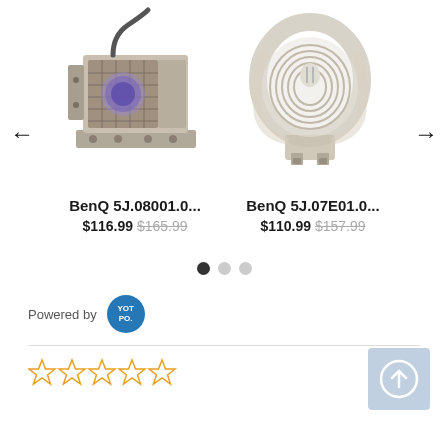[Figure (photo): Product carousel showing two BenQ projector lamp products with navigation arrows. Left product: BenQ 5J.08001.0... lamp with housing. Right product: BenQ 5J.07E01.0... bare lamp bulb.]
BenQ 5J.08001.0...
$116.99 $165.99
BenQ 5J.07E01.0...
$110.99 $157.99
[Figure (other): Carousel pagination dots: one filled black dot and two light grey dots]
Powered by YOTPO.
[Figure (other): Five empty star rating icons in orange/yellow outline]
[Figure (other): Upload/share button icon - circle with upward arrow on light blue background]